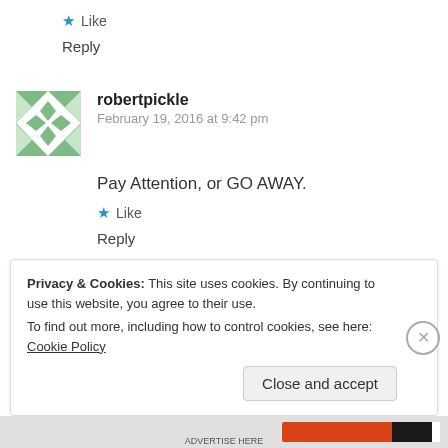★ Like
Reply
[Figure (illustration): Green geometric avatar/gravatar for user robertpickle]
robertpickle
February 19, 2016 at 9:42 pm
Pay Attention, or GO AWAY.
★ Like
Reply
Privacy & Cookies: This site uses cookies. By continuing to use this website, you agree to their use.
To find out more, including how to control cookies, see here: Cookie Policy
Close and accept